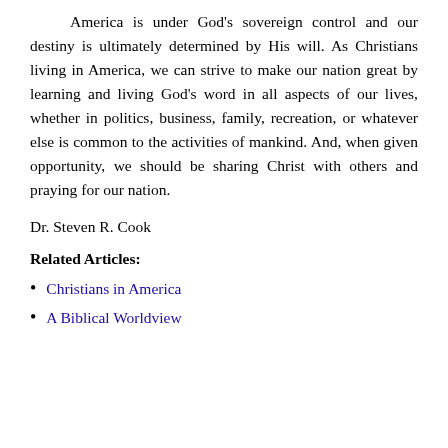America is under God's sovereign control and our destiny is ultimately determined by His will. As Christians living in America, we can strive to make our nation great by learning and living God's word in all aspects of our lives, whether in politics, business, family, recreation, or whatever else is common to the activities of mankind. And, when given opportunity, we should be sharing Christ with others and praying for our nation.
Dr. Steven R. Cook
Related Articles:
Christians in America
A Biblical Worldview